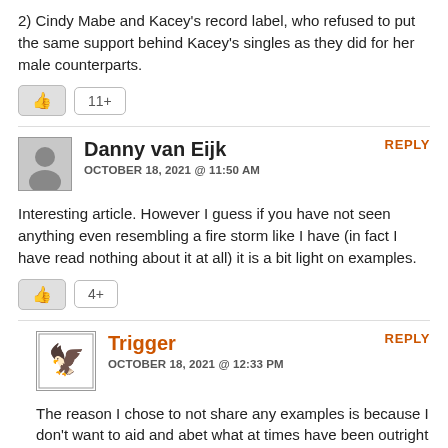2) Cindy Mabe and Kacey's record label, who refused to put the same support behind Kacey's singles as they did for her male counterparts.
Danny van Eijk
OCTOBER 18, 2021 @ 11:50 AM
Interesting article. However I guess if you have not seen anything even resembling a fire storm like I have (in fact I have read nothing about it at all) it is a bit light on examples.
Trigger
OCTOBER 18, 2021 @ 12:33 PM
The reason I chose to not share any examples is because I don't want to aid and abet what at times have been outright lies being told by certain individuals. But trust me, they are out there, and by very prominent journalists, and certain Americana performers. I understand you and others may not see this stuff. It's my job to have my nose in it.